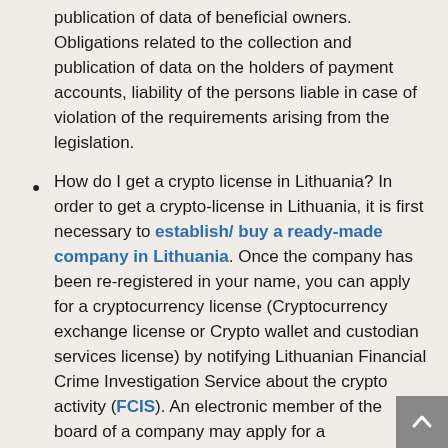publication of data of beneficial owners. Obligations related to the collection and publication of data on the holders of payment accounts, liability of the persons liable in case of violation of the requirements arising from the legislation.
How do I get a crypto license in Lithuania? In order to get a crypto-license in Lithuania, it is first necessary to establish/ buy a ready-made company in Lithuania. Once the company has been re-registered in your name, you can apply for a cryptocurrency license (Cryptocurrency exchange license or Crypto wallet and custodian services license) by notifying Lithuanian Financial Crime Investigation Service about the crypto activity (FCIS). An electronic member of the board of a company may apply for a cryptocurrency